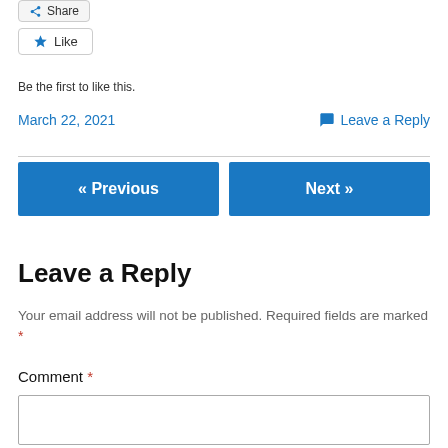[Figure (other): Share button with share icon]
[Figure (other): Like button with star icon]
Be the first to like this.
March 22, 2021
Leave a Reply
« Previous
Next »
Leave a Reply
Your email address will not be published. Required fields are marked *
Comment *